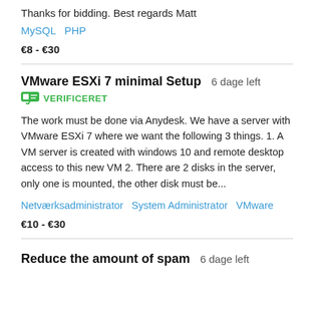Thanks for bidding. Best regards Matt
MySQL   PHP
€8 - €30
VMware ESXi 7 minimal Setup   6 dage left
VERIFICERET
The work must be done via Anydesk. We have a server with VMware ESXi 7 where we want the following 3 things. 1. A VM server is created with windows 10 and remote desktop access to this new VM 2. There are 2 disks in the server, only one is mounted, the other disk must be...
Netværksadministrator   System Administrator   VMware
€10 - €30
Reduce the amount of spam   6 dage left